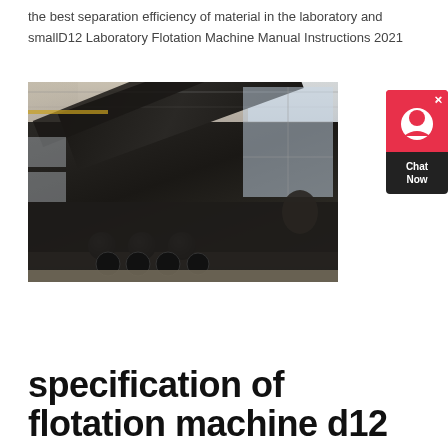the best separation efficiency of material in the laboratory and smallD12 Laboratory Flotation Machine Manual Instructions 2021
[Figure (photo): Industrial mining/crushing machine with a large conveyor belt arm, mounted on a heavy-duty truck/trailer, photographed inside a large factory warehouse with high ceilings and natural light from windows.]
[Figure (other): Chat Now customer support widget with red circular icon and dark bottom panel displaying 'Chat Now' text.]
specification of flotation machine d12